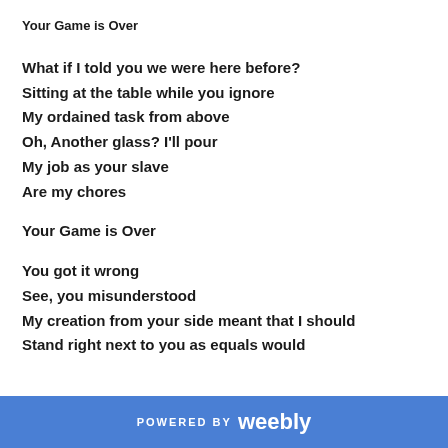Your Game is Over
What if I told you we were here before?
Sitting at the table while you ignore
My ordained task from above
Oh, Another glass? I'll pour
My job as your slave
Are my chores
Your Game is Over
You got it wrong
See, you misunderstood
My creation from your side meant that I should
Stand right next to you as equals would
POWERED BY weebly